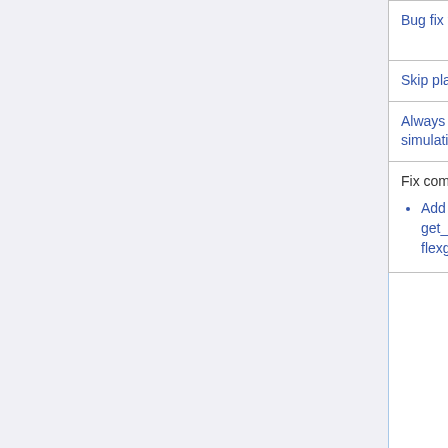| Description | Submitted by |  |
| --- | --- | --- |
| Bug fix for tagged CO: don't multiply emissions timestep by 60 | Dylan Jones (U. Toronto) |  |
| Skip planeflight observations outside a nested domain | Lei Zhu (Harvard) |  |
| Always enable BCPH_TPBC to allow saving out BC files in global simulations | Yanxu Zhang (Nanjing) |  |
| Fix compilation issues:
• Add hco_interface_mod.o to list of dependencies for get_met_mod.o and only compile get_met_mod.F90 and flexgrid_mod.F90 for GEOS-Chem | Bob Yantosca (GCST)
Haipeng Lin (PKU) |  |